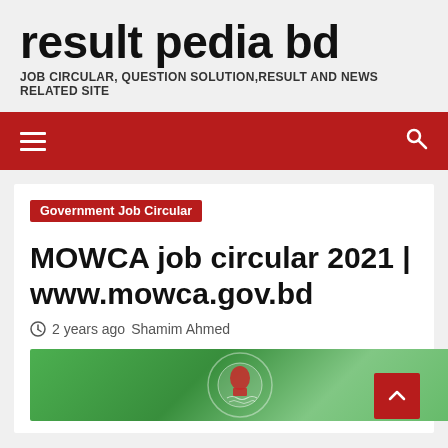result pedia bd
JOB CIRCULAR, QUESTION SOLUTION,RESULT AND NEWS RELATED SITE
[Figure (screenshot): Red navigation bar with hamburger menu icon on left and search icon on right]
Government Job Circular
MOWCA job circular 2021 | www.mowca.gov.bd
2 years ago  Shamim Ahmed
[Figure (photo): Green background with Bangladesh government emblem/seal visible at bottom of page]